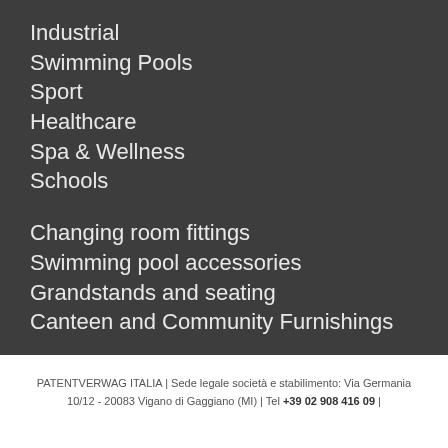Industrial
Swimming Pools
Sport
Healthcare
Spa & Wellness
Schools
Changing room fittings
Swimming pool accessories
Grandstands and seating
Canteen and Community Furnishings
PATENTVERWAG ITALIA | Sede legale società e stabilimento: Via Germania 10/12 - 20083 Vigano di Gaggiano (MI) | Tel +39 02 908 416 09 |